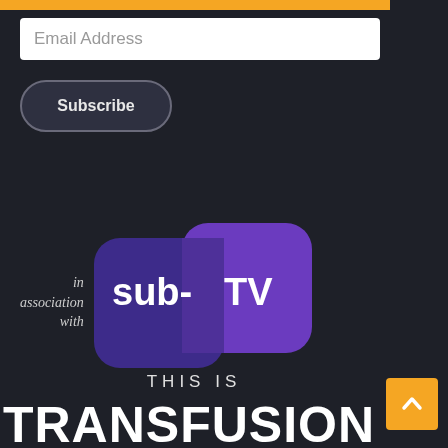Email Address
Subscribe
[Figure (logo): sub-TV logo: two overlapping rounded rectangles in dark purple/violet with 'sub-TV' text in white, preceded by italic text 'in association with']
THIS IS
TRANSFUSION